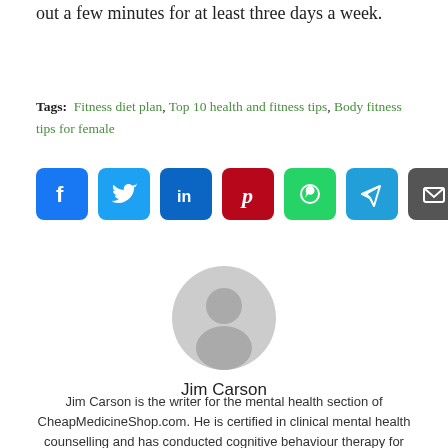out a few minutes for at least three days a week.
Tags: Fitness diet plan, Top 10 health and fitness tips, Body fitness tips for female
[Figure (infographic): Row of social media share icons: Facebook (blue), Twitter (light blue), LinkedIn (dark blue), Pinterest (dark red), WhatsApp (green), Telegram (blue), Email (grey)]
[Figure (photo): Generic grey user avatar silhouette (head and shoulders) in a circular frame]
Jim Carson
Jim Carson is the writer for the mental health section of CheapMedicineShop.com. He is certified in clinical mental health counselling and has conducted cognitive behaviour therapy for war veterans